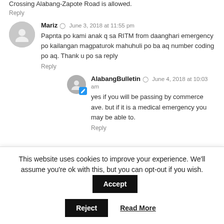Crossing Alabang-Zapote Road is allowed.
Reply
Mariz  June 3, 2018 at 11:55 pm
Papnta po kami anak q sa RITM from daanghari emergency po kailangan magpaturok mahuhuli po ba aq number coding po aq. Thank u po sa reply
Reply
AlabangBulletin  June 4, 2018 at 10:03 am
yes if you will be passing by commerce ave. but if it is a medical emergency you may be able to.
Reply
This website uses cookies to improve your experience. We'll assume you're ok with this, but you can opt-out if you wish.
Accept
Reject
Read More